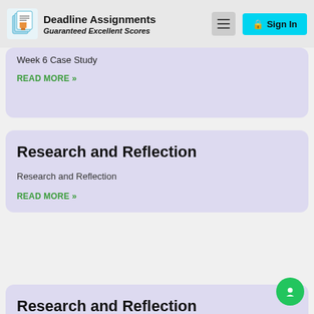Deadline Assignments Guaranteed Excellent Scores
Week 6 Case Study
READ MORE »
Research and Reflection
Research and Reflection
READ MORE »
Research and Reflection